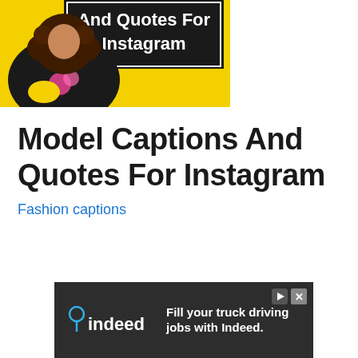[Figure (illustration): A promotional image with yellow background showing a woman with curly hair wearing a floral dress, with bold white text on dark banner reading 'And Quotes For Instagram']
Model Captions And Quotes For Instagram
Fashion captions
[Figure (screenshot): Indeed advertisement: dark background with Indeed logo and text 'Fill your truck driving jobs with Indeed.' with play and close buttons.]